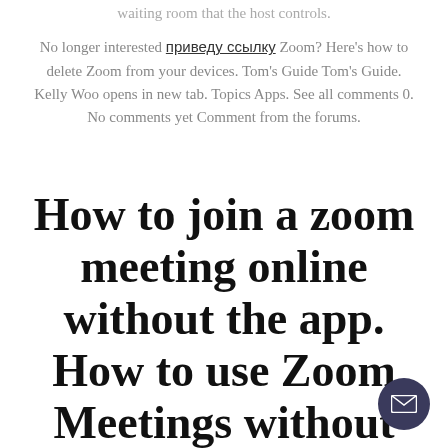waiting room that the host controls.
No longer interested приведу ссылку Zoom? Here's how to delete Zoom from your devices. Tom's Guide Tom's Guide. Kelly Woo opens in new tab. Topics Apps. See all comments 0. No comments yet Comment from the forums.
How to join a zoom meeting online without the app. How to use Zoom Meetings without downloading